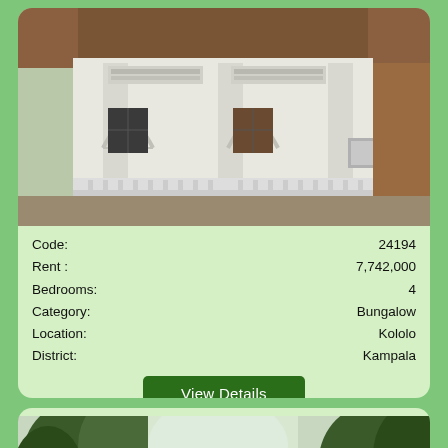[Figure (photo): Exterior photo of a white bungalow with arched entrances, white balustrade railings, and an AC unit visible on the right side]
Code: 24194
Rent : 7,742,000
Bedrooms: 4
Category: Bungalow
Location: Kololo
District: Kampala
View Details
[Figure (photo): Partial exterior photo of a property surrounded by trees]